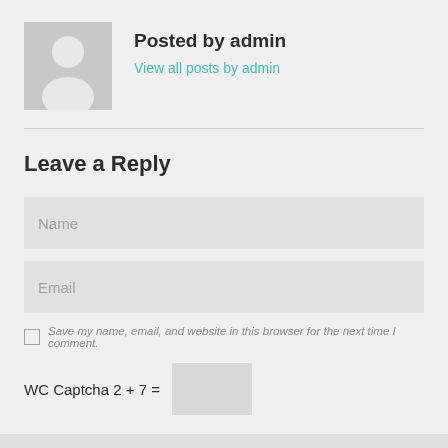[Figure (illustration): Gray placeholder avatar icon of a person silhouette on a light gray square background]
Posted by admin
View all posts by admin
Leave a Reply
Name
Email
Save my name, email, and website in this browser for the next time I comment.
WC Captcha 2 + 7 =